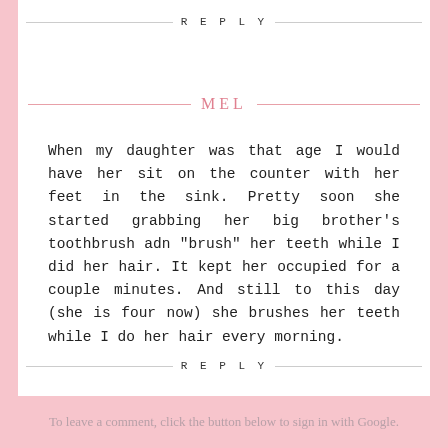REPLY
MEL
When my daughter was that age I would have her sit on the counter with her feet in the sink. Pretty soon she started grabbing her big brother's toothbrush adn "brush" her teeth while I did her hair. It kept her occupied for a couple minutes. And still to this day (she is four now) she brushes her teeth while I do her hair every morning.
REPLY
To leave a comment, click the button below to sign in with Google.